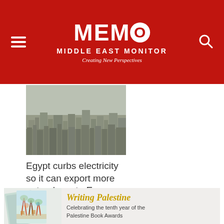MEMO MIDDLE EAST MONITOR — Creating New Perspectives
[Figure (photo): Aerial cityscape photo of Cairo, Egypt, showing dense urban buildings under hazy sky]
Egypt curbs electricity so it can export more natural gas to Europe amid Russia war
August 10, 2022
[Figure (photo): Books with colorful painted covers showing trees and houses, Writing Palestine — Celebrating the tenth year of the Palestine Book Awards]
Writing Palestine — Celebrating the tenth year of the Palestine Book Awards